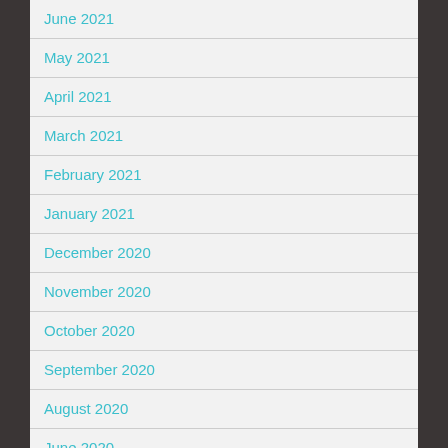June 2021
May 2021
April 2021
March 2021
February 2021
January 2021
December 2020
November 2020
October 2020
September 2020
August 2020
June 2020